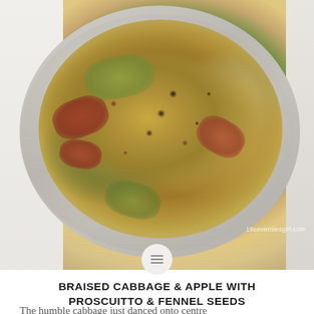[Figure (photo): A white ceramic plate/bowl containing braised cabbage and apple with proscuitto and fennel seeds, topped with black pepper, shot from above on a white cloth background. Watermark reads '19seventiesgirl.com'.]
BRAISED CABBAGE & APPLE WITH PROSCUITTO & FENNEL SEEDS
The humble cabbage just danced onto centre